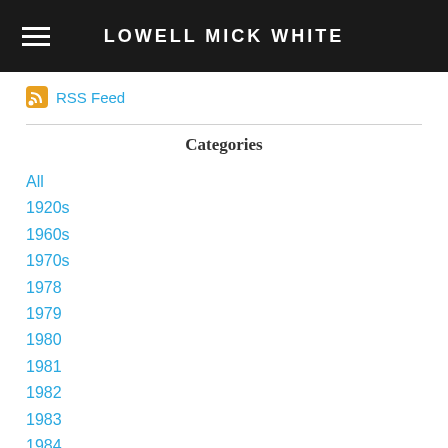LOWELL MICK WHITE
RSS Feed
Categories
All
1920s
1960s
1970s
1978
1979
1980
1981
1982
1983
1984